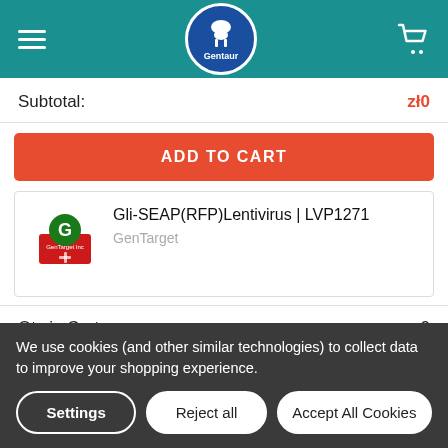Gentaur (logo) / cart icon
Subtotal: zł0
ADD TO CART
[Figure (logo): GenTarget Inc logo - red and green logo with G letter]
Gli-SEAP(RFP)Lentivirus | LVP1271
GenTarget
Qty in Cart: 0
Quantity: 0
We use cookies (and other similar technologies) to collect data to improve your shopping experience.
Settings
Reject all
Accept All Cookies